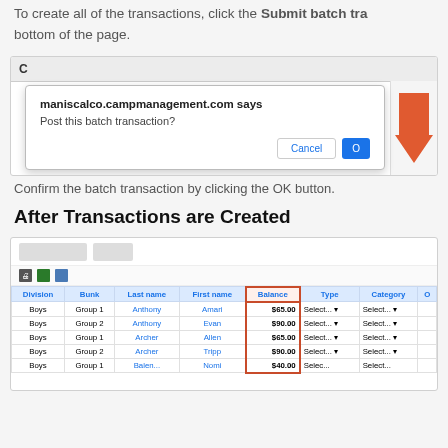To create all of the transactions, click the Submit batch tra... bottom of the page.
[Figure (screenshot): Browser dialog popup showing 'maniscalco.campmanagement.com says / Post this batch transaction?' with Cancel and OK buttons, overlaid on a web application screen with an orange arrow pointing to Submit button.]
Confirm the batch transaction by clicking the OK button.
After Transactions are Created
[Figure (screenshot): Web application table showing batch transaction records with columns: Division, Bunk, Last name, First name, Balance (highlighted with orange border), Type, Category, and another column. Rows show Boys group entries with balances ($65.00, $90.00, $65.00, $90.00, $40.00) and Select dropdowns.]